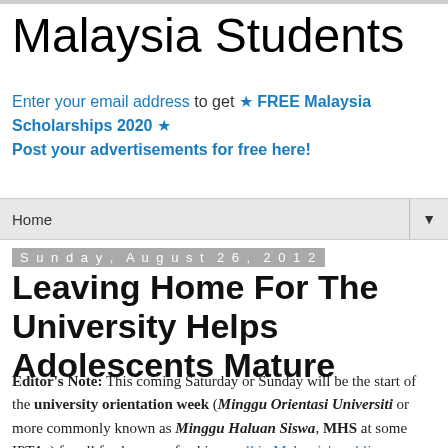Malaysia Students
Enter your email address to get ★ FREE Malaysia Scholarships 2020 ★
Post your advertisements for free here!
Home ▼
Sunday, August 26, 2012
Leaving Home For The University Helps Adolescents Mature
Editor's Note: This coming Saturday or Sunday will be the start of the university orientation week (Minggu Orientasi Universiti or more commonly known as Minggu Haluan Siswa, MHS at some IPTAs) for all freshmen or freshie enroll in Malaysia's public universities (IPTA). While the article below originally writes about the diploma students, the